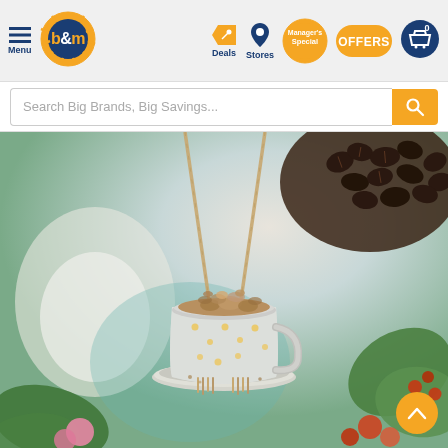B&M store website header with Menu, B&M logo, Deals, Stores, Manager's Special, OFFERS, and cart (0) navigation icons
Search Big Brands, Big Savings...
[Figure (photo): A decorative ceramic teacup bird feeder hanging by rope/twine, filled with bird seed/nuts, sitting on a saucer. The cup is light grey/blue with gold speckle dots. Background shows blurred coffee beans, plants and foliage in soft focus.]